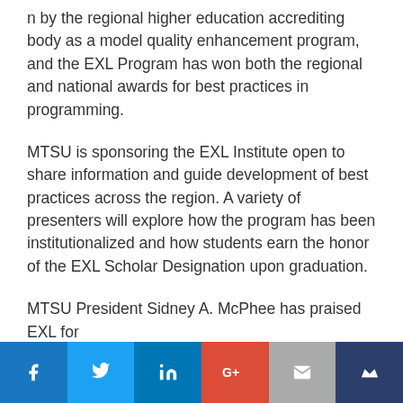n by the regional higher education accrediting body as a model quality enhancement program, and the EXL Program has won both the regional and national awards for best practices in programming.
MTSU is sponsoring the EXL Institute open to share information and guide development of best practices across the region. A variety of presenters will explore how the program has been institutionalized and how students earn the honor of the EXL Scholar Designation upon graduation.
MTSU President Sidney A. McPhee has praised EXL for
[Figure (other): Social media sharing bar with icons for Facebook, Twitter, LinkedIn, Google+, Email, and a crown/bookmark icon on a dark blue background.]